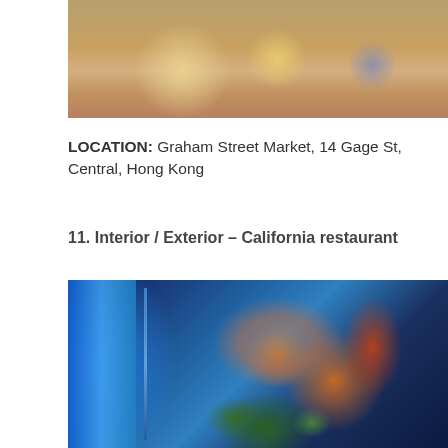[Figure (photo): Partial top photo showing people at what appears to be a street market, cropped at the top of the page]
LOCATION: Graham Street Market, 14 Gage St, Central, Hong Kong
11. Interior / Exterior – California restaurant
[Figure (photo): A young Asian man peering through what appears to be a restaurant window with a blue neon glow, plants visible in foreground, wearing a plaid shirt]